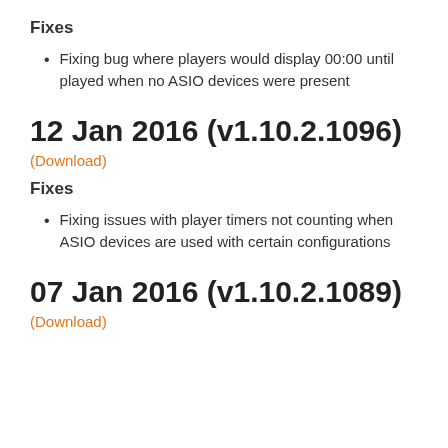Fixes
Fixing bug where players would display 00:00 until played when no ASIO devices were present
12 Jan 2016 (v1.10.2.1096)
(Download)
Fixes
Fixing issues with player timers not counting when ASIO devices are used with certain configurations
07 Jan 2016 (v1.10.2.1089)
(Download)